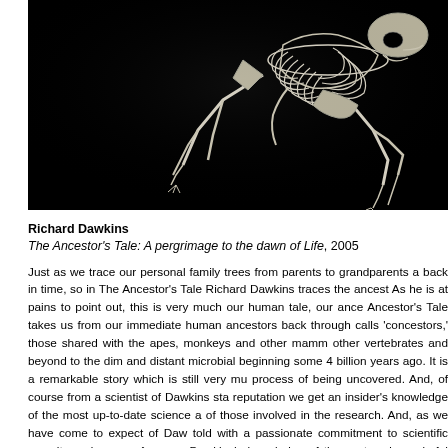[Figure (photo): Photograph of an animal skeleton (appears to be a large mammal, possibly a hare or similar creature) displayed against a black background. The skeleton shows detailed bone structure including ribs, limbs, and skull.]
Richard Dawkins
The Ancestor's Tale: A pergrimage to the dawn of Life, 2005
Just as we trace our personal family trees from parents to grandparents and so on back in time, so in The Ancestor's Tale Richard Dawkins traces the ancestors... As he is at pains to point out, this is very much our human tale, our ance... Ancestor's Tale takes us from our immediate human ancestors back through... calls 'concestors,' those shared with the apes, monkeys and other mamm... other vertebrates and beyond to the dim and distant microbial beginning... some 4 billion years ago. It is a remarkable story which is still very mu... process of being uncovered. And, of course from a scientist of Dawkins sta... reputation we get an insider's knowledge of the most up-to-date science a... of those involved in the research. And, as we have come to expect of Daw... told with a passionate commitment to scientific veracity and a nose for a go... Dawkins's knowledge of the vast and wonderful swoop of life's diversity is...